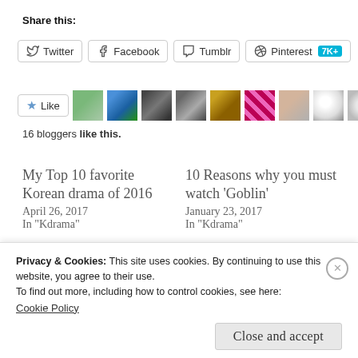Share this:
Twitter | Facebook | Tumblr | Pinterest 7K+
Like | [16 blogger avatars]
16 bloggers like this.
My Top 10 favorite Korean drama of 2016
April 26, 2017
In "Kdrama"
10 Reasons why you must watch ‘Goblin’
January 23, 2017
In "Kdrama"
WeightLifting Fairy
Privacy & Cookies: This site uses cookies. By continuing to use this website, you agree to their use.
To find out more, including how to control cookies, see here:
Cookie Policy
Close and accept